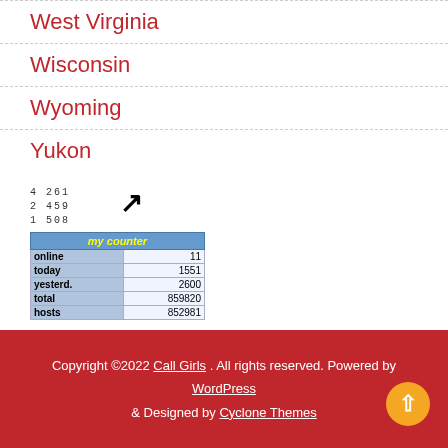West Virginia
Wisconsin
Wyoming
Yukon
[Figure (other): Web counter widget showing stats: online 11, today 1551, yesterday 2600, total 859820, hosts 852981. Numbers 4 261, 2 459, 1 508 shown above with arrow icon.]
Copyright ©2022 Call Girls . All rights reserved. Powered by WordPress & Designed by Cyclone Themes